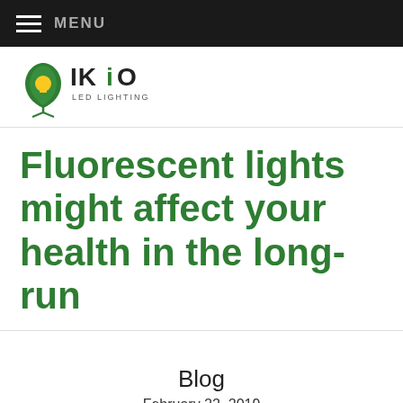MENU
[Figure (logo): IKIO LED Lighting logo — green leaf with light bulb icon and IKIO LED LIGHTING text]
Fluorescent lights might affect your health in the long-run
Blog
February 22, 2019